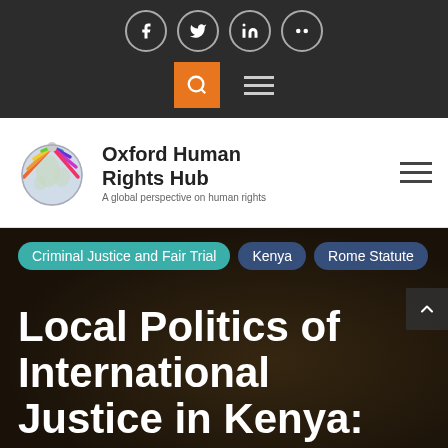Social media icons: Facebook, Twitter, LinkedIn, Flickr; Search and Menu buttons
[Figure (logo): Oxford Human Rights Hub globe logo with colorful rays]
Oxford Human Rights Hub
A global perspective on human rights
Criminal Justice and Fair Trial
Kenya
Rome Statute
Local Politics of International Justice in Kenya: How the